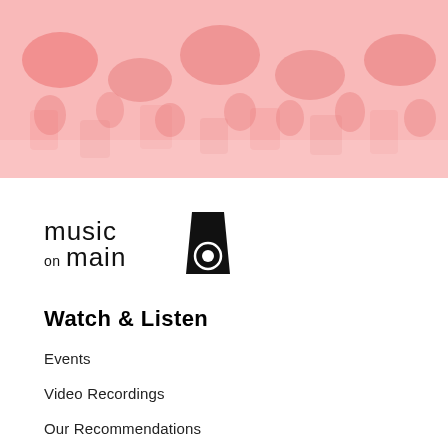[Figure (photo): A salmon/coral pink tinted overhead photo of an audience or concert hall with chairs and people, used as a hero banner image.]
[Figure (logo): Music on Main logo — text 'music on main' with a stylized black speaker/monitor icon to the right]
Watch & Listen
Events
Video Recordings
Our Recommendations